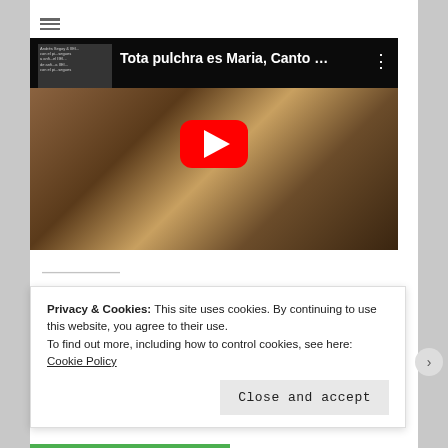[Figure (screenshot): YouTube video thumbnail showing a man in a white shirt reading from a book inside an ornate brick church/basilica. Video title: 'Tota pulchra es Maria, Canto ...' with YouTube play button overlay.]
Privacy & Cookies: This site uses cookies. By continuing to use this website, you agree to their use.
To find out more, including how to control cookies, see here: Cookie Policy
Close and accept